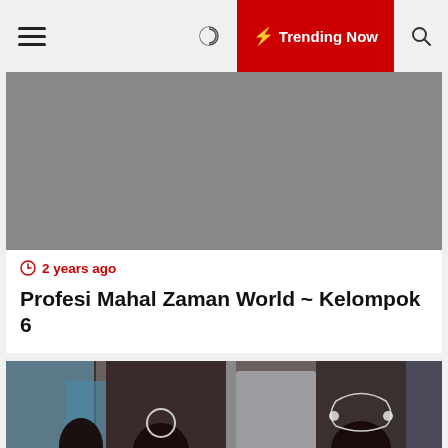☰ 🌙 ⚡ Trending Now 🔍
[Figure (photo): Gray placeholder image for main article]
⊙ 2 years ago
Profesi Mahal Zaman World ~ Kelompok 6
[Figure (photo): Jewelry display with necklaces on black busts, teal/turquoise accessories in background]
ement Analyst Salary
Sorts Of Insurance Provi Farm